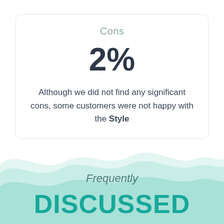Cons
2%
Although we did not find any significant cons, some customers were not happy with the Style
[Figure (illustration): Decorative wave background in light mint/teal color]
Frequently
DISCUSSED